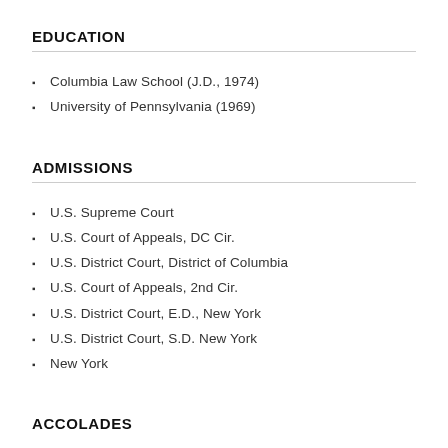EDUCATION
Columbia Law School (J.D., 1974)
University of Pennsylvania (1969)
ADMISSIONS
U.S. Supreme Court
U.S. Court of Appeals, DC Cir.
U.S. District Court, District of Columbia
U.S. Court of Appeals, 2nd Cir.
U.S. District Court, E.D., New York
U.S. District Court, S.D. New York
New York
ACCOLADES